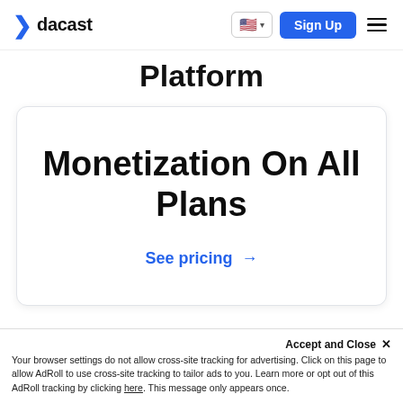dacast — Sign Up
Platform
Monetization On All Plans
See pricing →
Accept and Close ✕
Your browser settings do not allow cross-site tracking for advertising. Click on this page to allow AdRoll to use cross-site tracking to tailor ads to you. Learn more or opt out of this AdRoll tracking by clicking here. This message only appears once.